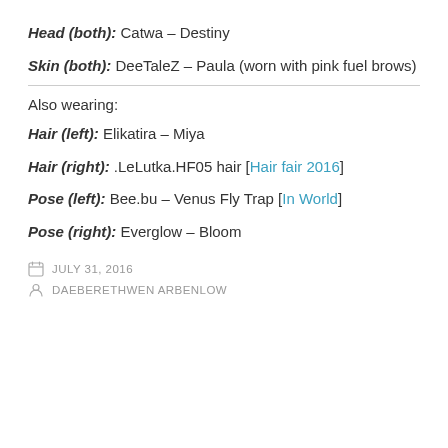Head (both): Catwa – Destiny
Skin (both): DeeTaleZ – Paula (worn with pink fuel brows)
Also wearing:
Hair (left): Elikatira – Miya
Hair (right): .LeLutka.HF05 hair [Hair fair 2016]
Pose (left): Bee.bu – Venus Fly Trap [In World]
Pose (right): Everglow – Bloom
JULY 31, 2016  DAEBERETHWEN ARBENLOW